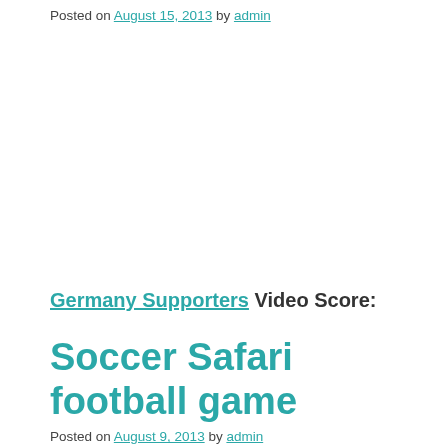Posted on August 15, 2013 by admin
Germany Supporters Video Score: four / five
Posted in Germany Videos | Tagged 2013, extratraining, fussball, PROFESSIONELLES, training | 25 Comments
Soccer Safari football game
Posted on August 9, 2013 by admin